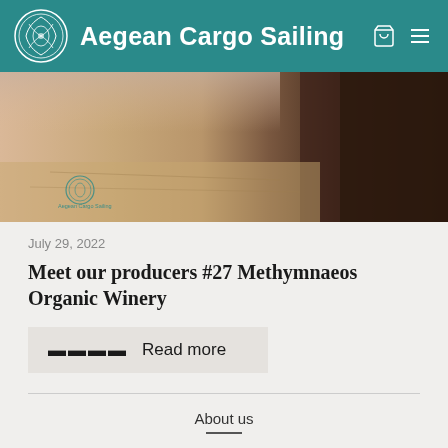Aegean Cargo Sailing
[Figure (photo): Hero banner image showing a coastal/maritime scene with sandy/warm tones on the left and dark rocky/wooden elements on the right. Aegean Cargo Sailing logo watermark visible in the lower left.]
July 29, 2022
Meet our producers #27 Methymnaeos Organic Winery
Read more
About us